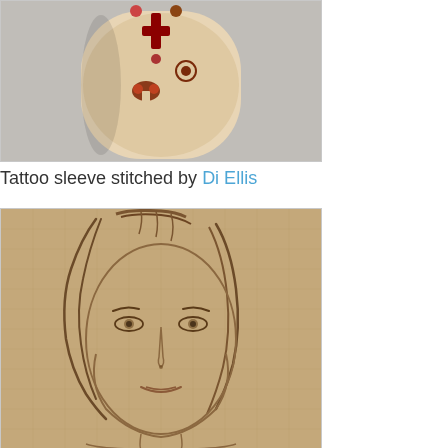[Figure (photo): Photo of a tattoo sleeve on an arm, showing decorative cross and floral tattoo designs on a light background, placed inside a light grey bordered container.]
Tattoo sleeve stitched by Di Ellis
[Figure (photo): Photo of an embroidered or stitched portrait of a woman's face on tan/burlap-colored canvas fabric. The stitching shows a female face with hair, eyes, nose, and mouth in brown thread on a warm sandy background.]